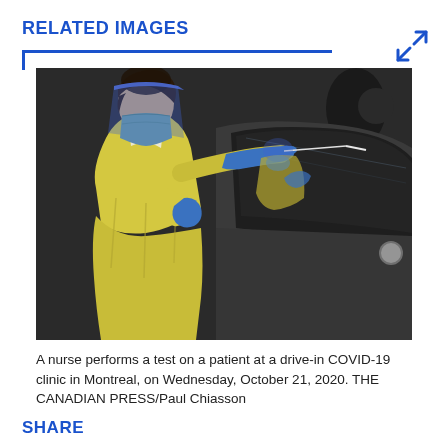RELATED IMAGES
[Figure (photo): A nurse in yellow PPE gown, blue face shield, blue gloves and surgical mask performs a COVID-19 nasal swab test on a patient in a car at a drive-in clinic in Montreal. The nurse's reflection is visible in the car window.]
A nurse performs a test on a patient at a drive-in COVID-19 clinic in Montreal, on Wednesday, October 21, 2020. THE CANADIAN PRESS/Paul Chiasson
SHARE